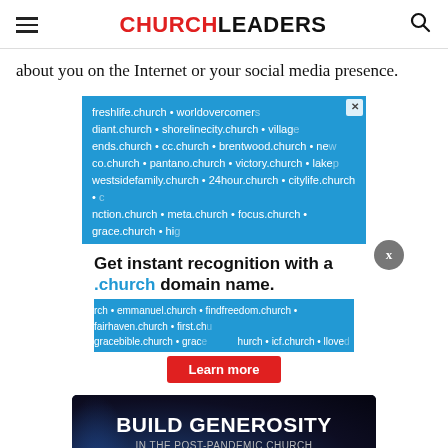CHURCHLEADERS
about you on the Internet or your social media presence.
[Figure (infographic): Advertisement for .church domain names on a blue background with list of church domain names, headline 'Get instant recognition with a .church domain name.' and a 'Learn more' button.]
[Figure (infographic): Advertisement banner with dark background: 'BUILD GENEROSITY IN THE POST-PANDEMIC CHURCH' with 'LEARN MORE' button.]